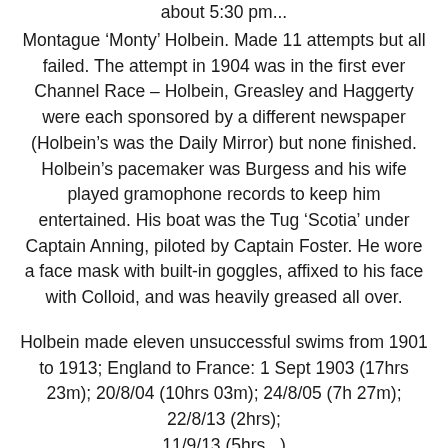about 5:30 pm...
Montague ‘Monty’ Holbein. Made 11 attempts but all failed. The attempt in 1904 was in the first ever Channel Race – Holbein, Greasley and Haggerty were each sponsored by a different newspaper (Holbein’s was the Daily Mirror) but none finished. Holbein’s pacemaker was Burgess and his wife played gramophone records to keep him entertained. His boat was the Tug ‘Scotia’ under Captain Anning, piloted by Captain Foster. He wore a face mask with built-in goggles, affixed to his face with Colloid, and was heavily greased all over.
Holbein made eleven unsuccessful swims from 1901 to 1913; England to France: 1 Sept 1903 (17hrs 23m); 20/8/04 (10hrs 03m); 24/8/05 (7h 27m); 22/8/13 (2hrs); 11/9/13 (5hrs...)